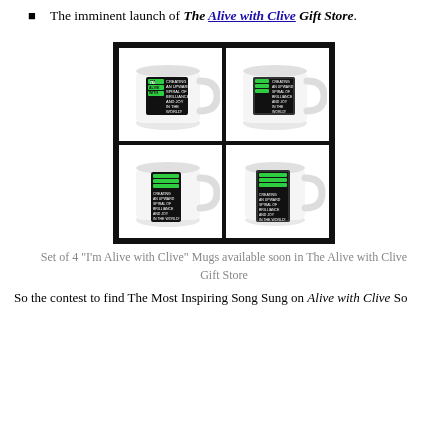The imminent launch of The Alive with Clive Gift Store.
[Figure (photo): Set of 4 mugs arranged in a 2x2 grid on a black background, each showing an 'I'm Alive with Clive' branded mug with black label and green text]
Set of 4 "I'm Alive with Clive" Mugs available soon in The Alive with Clive Gift Store
So the contest to find The Most Inspiring Song Sung on Alive with Clive So